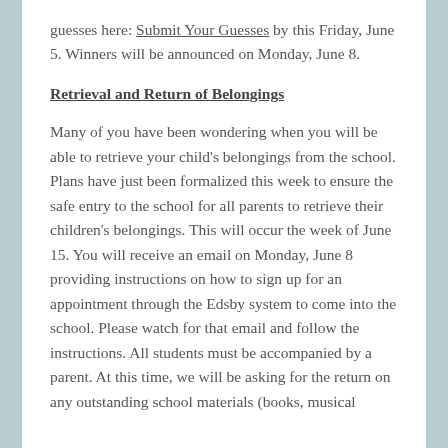guesses here: Submit Your Guesses by this Friday, June 5.  Winners will be announced on Monday, June 8.
Retrieval and Return of Belongings
Many of you have been wondering when you will be able to retrieve your child's belongings from the school.  Plans have just been formalized this week to ensure the safe entry to the school for all parents to retrieve their children's belongings.  This will occur the week of June 15.  You will receive an email on Monday, June 8 providing instructions on how to sign up for an appointment through the Edsby system to come into the school.  Please watch for that email and follow the instructions.  All students must be accompanied by a parent.  At this time, we will be asking for the return on any outstanding school materials (books, musical